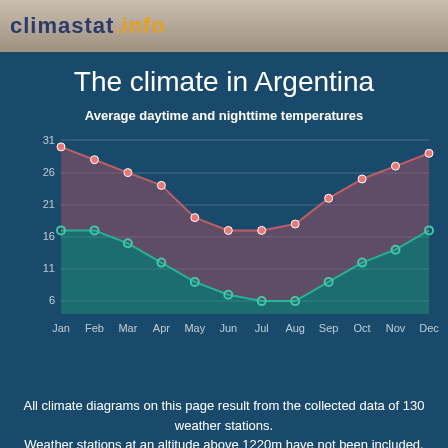climastat.info
The climate in Argentina
[Figure (area-chart): Average daytime and nighttime temperatures]
All climate diagrams on this page result from the collected data of 130 weather stations. Weather stations at an altitude above 1220m have not been included.